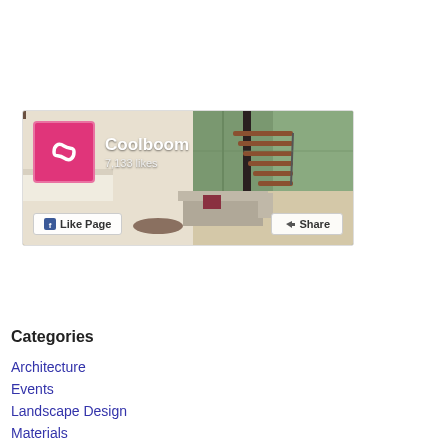[Figure (screenshot): Facebook page widget for 'Coolboom' showing a modern interior living room with staircase as the cover photo. The page logo is a pink/magenta square with an infinity-like symbol. Shows 7,133 likes. Has 'Like Page' and 'Share' buttons at the bottom.]
Categories
Architecture
Events
Landscape Design
Materials